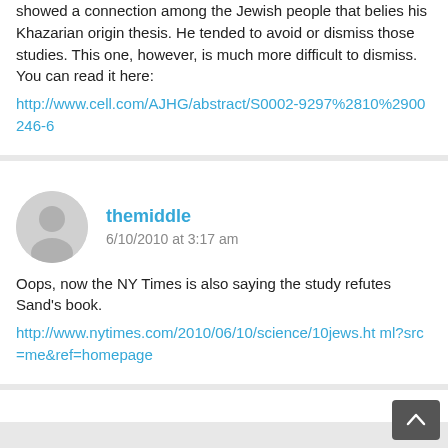showed a connection among the Jewish people that belies his Khazarian origin thesis. He tended to avoid or dismiss those studies. This one, however, is much more difficult to dismiss. You can read it here: http://www.cell.com/AJHG/abstract/S0002-9297%2810%2900246-6
themiddle
6/10/2010 at 3:17 am
Oops, now the NY Times is also saying the study refutes Sand's book. http://www.nytimes.com/2010/06/10/science/10jews.html?src=me&ref=homepage